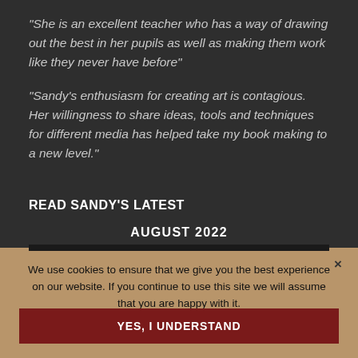“She is an excellent teacher who has a way of drawing out the best in her pupils as well as making them work like they never have before”
“Sandy’s enthusiasm for creating art is contagious. Her willingness to share ideas, tools and techniques for different media has helped take my book making to a new level.”
READ SANDY’S LATEST
AUGUST 2022
| M | T | W | T | F | S | S |
| --- | --- | --- | --- | --- | --- | --- |
We use cookies to ensure that we give you the best experience on our website. If you continue to use this site we will assume that you are happy with it.
YES, I UNDERSTAND